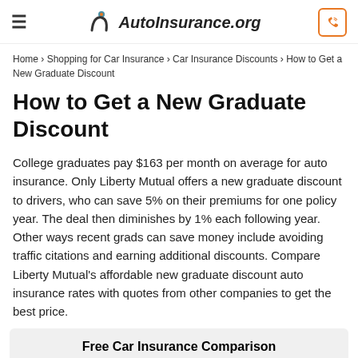AutoInsurance.org
Home › Shopping for Car Insurance › Car Insurance Discounts › How to Get a New Graduate Discount
How to Get a New Graduate Discount
College graduates pay $163 per month on average for auto insurance. Only Liberty Mutual offers a new graduate discount to drivers, who can save 5% on their premiums for one policy year. The deal then diminishes by 1% each following year. Other ways recent grads can save money include avoiding traffic citations and earning additional discounts. Compare Liberty Mutual's affordable new graduate discount auto insurance rates with quotes from other companies to get the best price.
Free Car Insurance Comparison